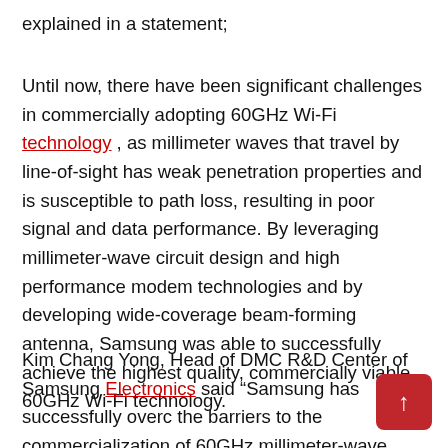explained in a statement;
Until now, there have been significant challenges in commercially adopting 60GHz Wi-Fi technology , as millimeter waves that travel by line-of-sight has weak penetration properties and is susceptible to path loss, resulting in poor signal and data performance. By leveraging millimeter-wave circuit design and high performance modem technologies and by developing wide-coverage beam-forming antenna, Samsung was able to successfully achieve the highest quality, commercially viable 60GHz Wi-Fi technology.
Kim Chang Yong, Head of DMC R&D Center of Samsung Electronics said “Samsung has successfully overc the barriers to the commercialization of 60GHz millimeter-wave band Wi-Fi technology, and looks